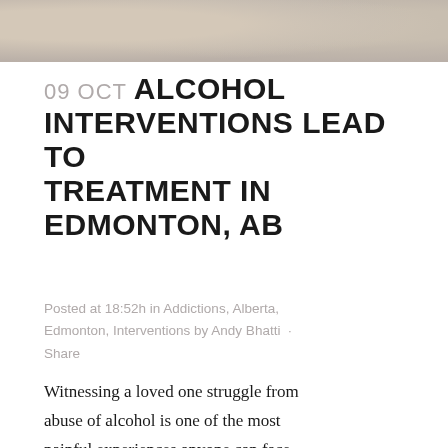[Figure (photo): Partial photo strip at top of page showing people, cropped and faded]
09 OCT ALCOHOL INTERVENTIONS LEAD TO TREATMENT IN EDMONTON, AB
Posted at 18:52h in Addictions, Alberta, Edmonton, Interventions by Andy Bhatti · Share
Witnessing a loved one struggle from abuse of alcohol is one of the most painful experiences anyone can face. The problems that alcohol causes are easily spotted, yet your loved one persists. As a caring person, you are